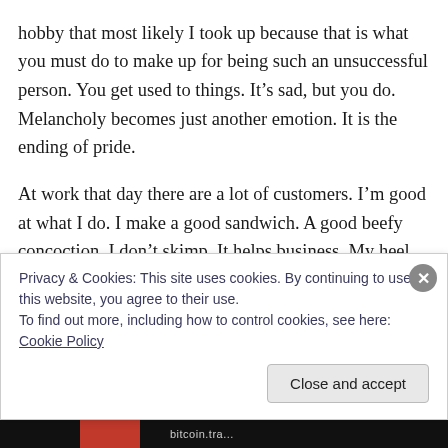hobby that most likely I took up because that is what you must do to make up for being such an unsuccessful person. You get used to things. It’s sad, but you do. Melancholy becomes just another emotion. It is the ending of pride.
At work that day there are a lot of customers. I’m good at what I do. I make a good sandwich. A good beefy concoction. I don’t skimp. It helps business. My heel hurt of course and I wondered about Maggie. She said she was going to have cheap sex with a friend if he didn’t want her for any other reason. I accepted it as I was supposed
Privacy & Cookies: This site uses cookies. By continuing to use this website, you agree to their use.
To find out more, including how to control cookies, see here: Cookie Policy
Close and accept